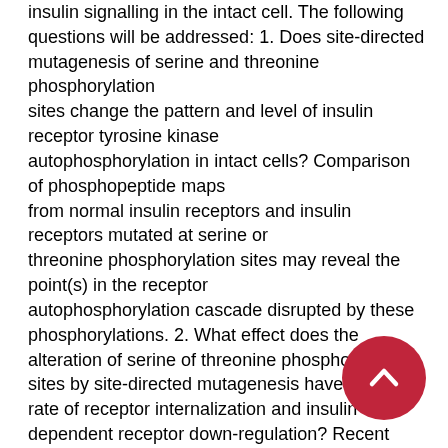insulin signalling in the intact cell. The following questions will be addressed: 1. Does site-directed mutagenesis of serine and threonine phosphorylation sites change the pattern and level of insulin receptor tyrosine kinase autophosphorylation in intact cells? Comparison of phosphopeptide maps from normal insulin receptors and insulin receptors mutated at serine or threonine phosphorylation sites may reveal the point(s) in the receptor autophosphorylation cascade disrupted by these phosphorylations. 2. What effect does the alteration of serine of threonine phosphorylation sites by site-directed mutagenesis have on the rate of receptor internalization and insulin-dependent receptor down-regulation? Recent reports indicate that mutant insulin receptors lacking tyrosine kinase activity are not phosphorylated on serine or threonine, nor can these receptors undergo ligand-induced down-regulation. 3. Does the alteration of one or more sites of serine/threonine
[Figure (other): Red circular floating action button with upward-pointing chevron arrow, positioned at bottom-right corner.]